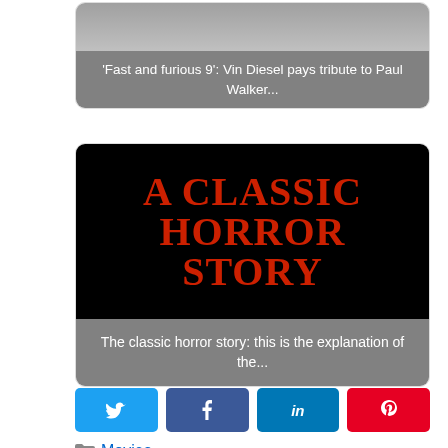[Figure (screenshot): Movie article card for 'Fast and Furious 9' with gray image placeholder and caption overlay]
'Fast and furious 9': Vin Diesel pays tribute to Paul Walker...
[Figure (screenshot): Movie article card for 'A Classic Horror Story' with black background and red horror-style text]
The classic horror story: this is the explanation of the...
[Figure (infographic): Social media share buttons: Twitter (blue), Facebook (blue), LinkedIn (dark blue), Pinterest (red)]
Movies
anime, Bond, classic, family, fun, James, movies, pays, series, spy, tribute
< Lis Vega is walking perfection, her